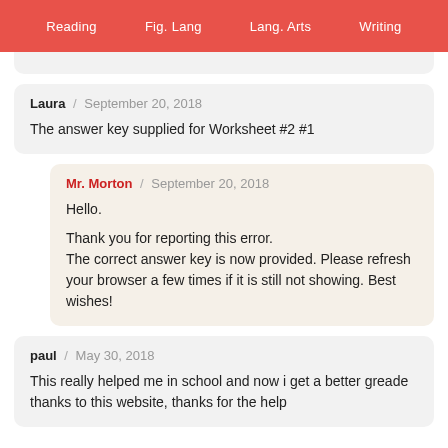Reading   Fig. Lang   Lang. Arts   Writing
(partial comment box at top)
Laura / September 20, 2018
The answer key supplied for Worksheet #2 #1
Mr. Morton / September 20, 2018
Hello.
Thank you for reporting this error.
The correct answer key is now provided. Please refresh your browser a few times if it is still not showing. Best wishes!
paul / May 30, 2018
This really helped me in school and now i get a better greade thanks to this website, thanks for the help